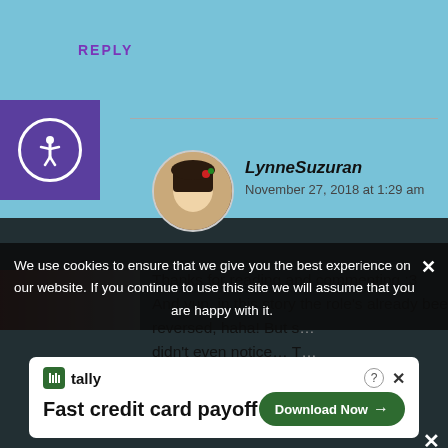REPLY
[Figure (screenshot): Accessibility icon in purple box, top left]
LynneSuzuran
November 27, 2018 at 1:29 am
Thanks for reading and commenting :3 And yup, in this story the role's already been reversed, haha! But s… didn't even notice… T…
REPLY
[Figure (screenshot): Black video overlay with loading spinner and X close button]
We use cookies to ensure that we give you the best experience on our website. If you continue to use this site we will assume that you are happy with it.
[Figure (screenshot): Tally advertisement banner: Fast credit card payoff, Download Now button]